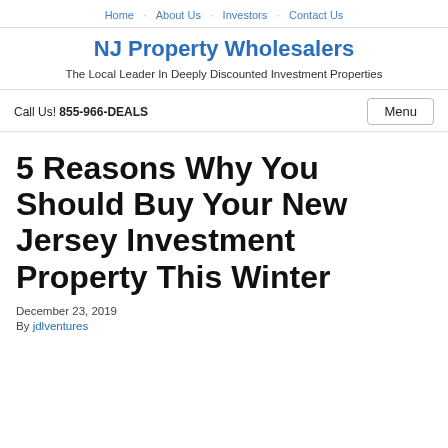Home · About Us · Investors · Contact Us
NJ Property Wholesalers
The Local Leader In Deeply Discounted Investment Properties
Call Us! 855-966-DEALS
5 Reasons Why You Should Buy Your New Jersey Investment Property This Winter
December 23, 2019
By jdlventures